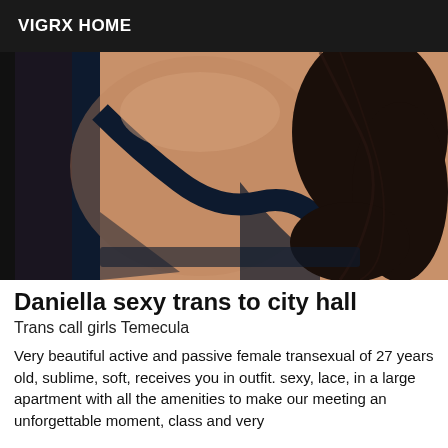VIGRX HOME
[Figure (photo): Close-up photo of a person's bare back wearing a dark blue/black bra strap, with dark hair visible on the right side. The image is taken from behind showing the upper back and shoulder area.]
Daniella sexy trans to city hall
Trans call girls Temecula
Very beautiful active and passive female transexual of 27 years old, sublime, soft, receives you in outfit. sexy, lace, in a large apartment with all the amenities to make our meeting an unforgettable moment, class and very